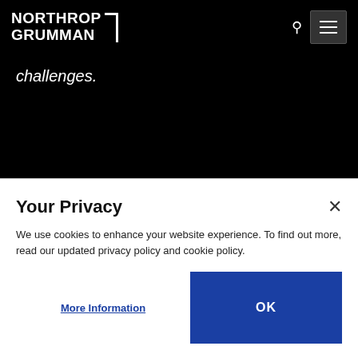[Figure (logo): Northrop Grumman logo in white text with bracket mark on black background]
challenges.
Learn More
[Figure (photo): Sky with clouds and a tall thin tower/antenna silhouette]
Your Privacy
We use cookies to enhance your website experience. To find out more, read our updated privacy policy and cookie policy.
More Information
OK